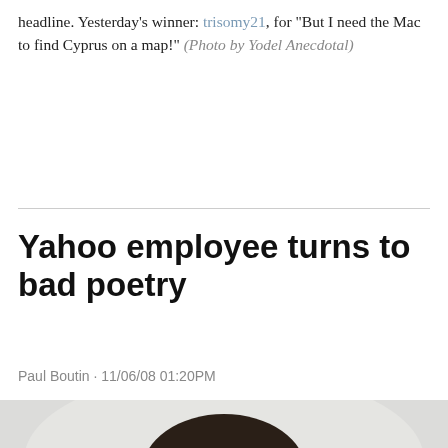headline. Yesterday's winner: trisomy21, for "But I need the Mac to find Cyprus on a map!" (Photo by Yodel Anecdotal)
Yahoo employee turns to bad poetry
Paul Boutin · 11/06/08 01:20PM
[Figure (photo): Head and shoulders photo of a person with dark hair against a light background]